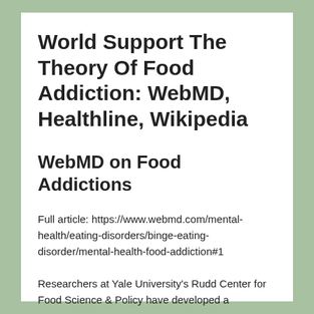World Support The Theory Of Food Addiction: WebMD, Healthline, Wikipedia
WebMD on Food Addictions
Full article: https://www.webmd.com/mental-health/eating-disorders/binge-eating-disorder/mental-health-food-addiction#1
Researchers at Yale University's Rudd Center for Food Science & Policy have developed a